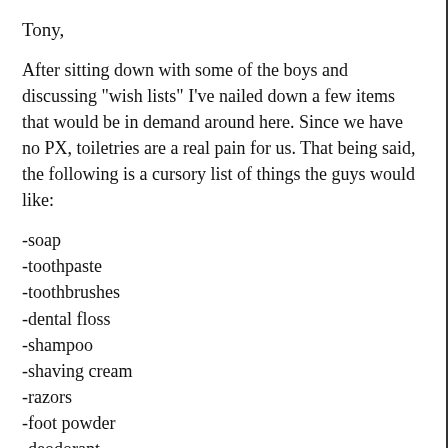Tony,
After sitting down with some of the boys and discussing "wish lists" I've nailed down a few items that would be in demand around here. Since we have no PX, toiletries are a real pain for us. That being said, the following is a cursory list of things the guys would like:
-soap
-toothpaste
-toothbrushes
-dental floss
-shampoo
-shaving cream
-razors
-foot powder
-deodorant
Some other items the boys would like:
-Christmas decorations (small fake trees, lights